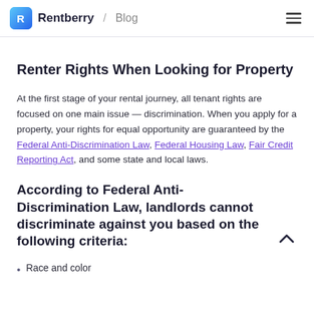Rentberry / Blog
Renter Rights When Looking for Property
At the first stage of your rental journey, all tenant rights are focused on one main issue — discrimination. When you apply for a property, your rights for equal opportunity are guaranteed by the Federal Anti-Discrimination Law, Federal Housing Law, Fair Credit Reporting Act, and some state and local laws.
According to Federal Anti-Discrimination Law, landlords cannot discriminate against you based on the following criteria:
Race and color